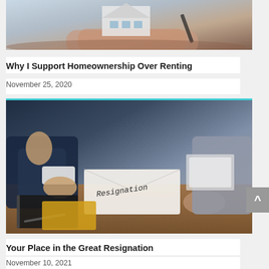[Figure (photo): Photo of hands holding a model house and pen, real estate / homeownership theme. Cropped at top, lower portion visible.]
Why I Support Homeownership Over Renting
November 25, 2020
[Figure (photo): Photo of two people at a desk, one handing a resignation letter envelope to the other. A notebook and yellow folder on the desk. A scroll-to-top button overlays the right edge.]
Your Place in the Great Resignation
November 10, 2021